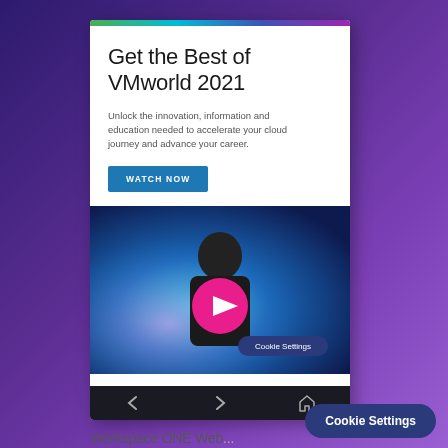[Figure (screenshot): Screenshot of a VMware website page on a mobile phone UI showing 'Get the Best of VMworld 2021' headline, descriptive text, a Watch Now button, a video thumbnail with a play button, a Cookie Settings pill, and bottom navigation icons]
Get the Best of VMworld 2021
Unlock the innovation, information and education needed to accelerate your cloud journey and advance your career.
WATCH NOW
Cookie Settings
Cookie Settings
Workspace ONE Web...